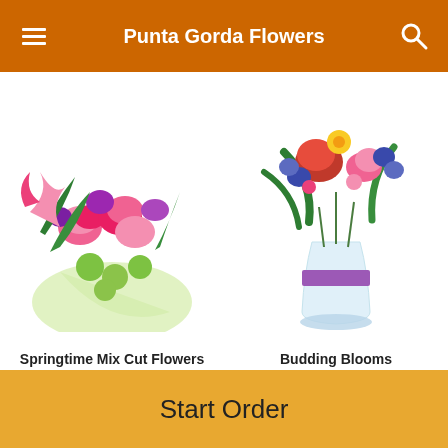Punta Gorda Flowers
[Figure (photo): Springtime Mix Cut Flowers bouquet with pink carnations, green buttons, pink ribbon wrap]
[Figure (photo): Budding Blooms floral arrangement in glass vase with purple ribbon, mixed colorful flowers]
Springtime Mix Cut Flowers
From $56.95
Budding Blooms
From $72.95
POWERED BY
[Figure (logo): Lovingly logo with pink book/heart icon and dark blue text]
Start Order